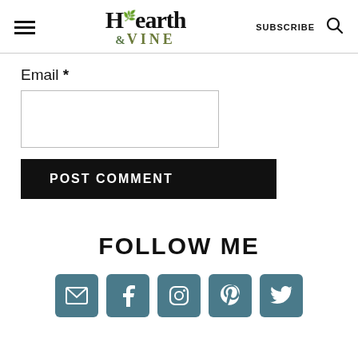Hearth & Vine — SUBSCRIBE
Email *
POST COMMENT
FOLLOW ME
[Figure (infographic): Five social media icon buttons (email, Facebook, Instagram, Pinterest, Twitter) in teal/dark-cyan rounded square buttons]